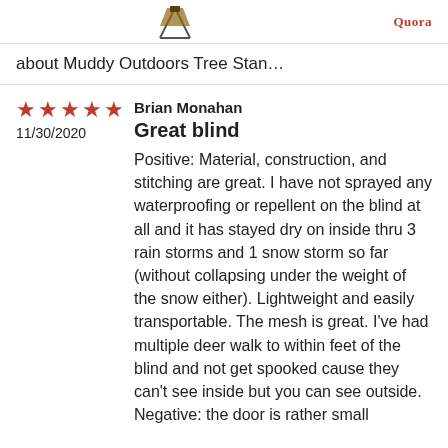[Figure (logo): Product image thumbnail and Quora branding icon in top area]
about Muddy Outdoors Tree Stan…
Brian Monahan
11/30/2020
Great blind
Positive: Material, construction, and stitching are great. I have not sprayed any waterproofing or repellent on the blind at all and it has stayed dry on inside thru 3 rain storms and 1 snow storm so far (without collapsing under the weight of the snow either). Lightweight and easily transportable. The mesh is great. I've had multiple deer walk to within feet of the blind and not get spooked cause they can't see inside but you can see outside. Negative: the door is rather small